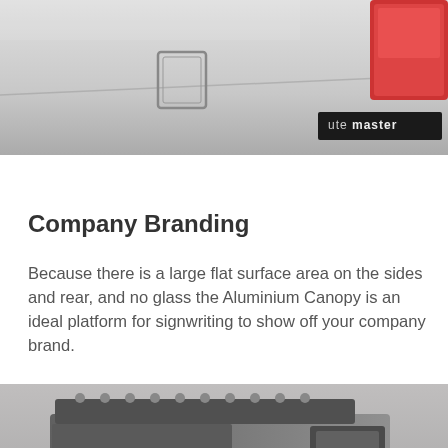[Figure (photo): Close-up of the rear quarter panel of a silver pickup truck, showing a fuel cap and red tail light, with a 'UTE MASTER' logo badge in the lower right corner.]
Company Branding
Because there is a large flat surface area on the sides and rear, and no glass the Aluminium Canopy is an ideal platform for signwriting to show off your company brand.
[Figure (photo): A grey van/ute with a large aluminium canopy fitted, branded with company signwriting including large 'MC' letters and partial text on the side, with a roof rack and accessories visible on top.]